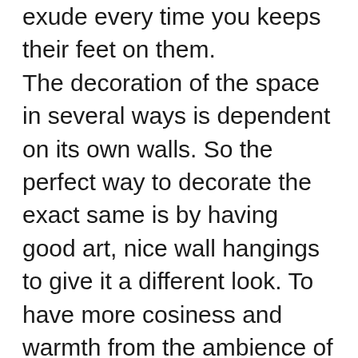exude every time you keeps their feet on them. The decoration of the space in several ways is dependent on its own walls. So the perfect way to decorate the exact same is by having good art, nice wall hangings to give it a different look. To have more cosiness and warmth from the ambience of the space, it is always much better to have photograph frames with the favorite couple picture. One can pick the classic design frames to make it even more fashionable. To begin with louder high watt bulbs are never quite romantic. A crystal chandelier in smaller shape